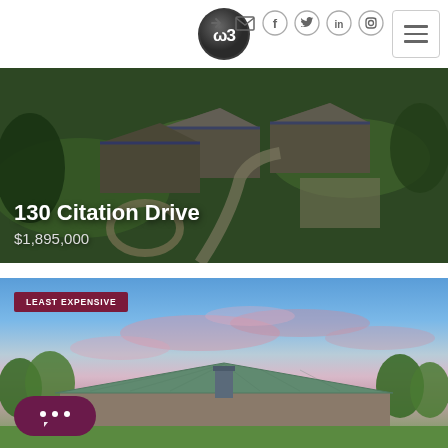[Figure (logo): WB logo circle dark grey]
[Figure (screenshot): Navigation icons: login, email, facebook, twitter, linkedin, instagram]
[Figure (photo): Aerial drone photo of house at 130 Citation Drive showing green lawns and roof]
130 Citation Drive
$1,895,000
[Figure (photo): Exterior photo of house with blue sky and pink clouds, green trees, metal roof]
LEAST EXPENSIVE